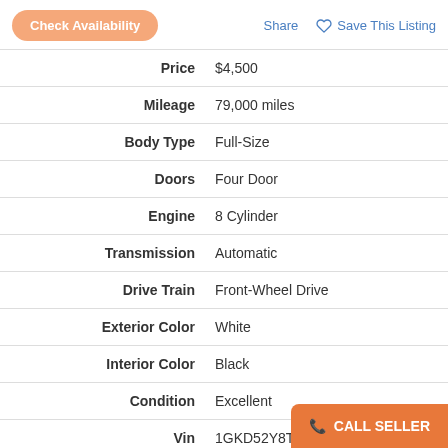Check Availability | Share | Save This Listing
| Label | Value |
| --- | --- |
| Price | $4,500 |
| Mileage | 79,000 miles |
| Body Type | Full-Size |
| Doors | Four Door |
| Engine | 8 Cylinder |
| Transmission | Automatic |
| Drive Train | Front-Wheel Drive |
| Exterior Color | White |
| Interior Color | Black |
| Condition | Excellent |
| Vin | 1GKD52Y8TU290033 |
Seller Comments
I have owned this Cadillac for 14 years and have take interested thank you8697904780